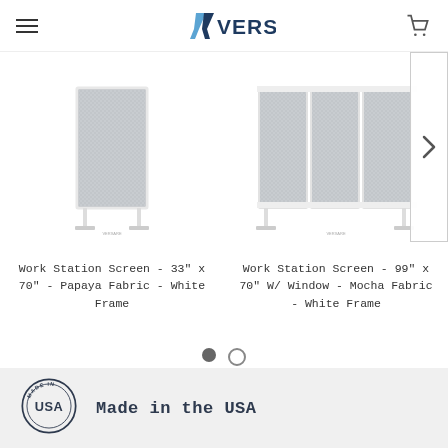Versare — navigation header with hamburger menu, Versare logo, and cart icon
[Figure (photo): Product image: Work Station Screen - single panel, grey fabric, white frame]
Work Station Screen - 33" x 70" - Papaya Fabric - White Frame
[Figure (photo): Product image: Work Station Screen - three panels with windows, grey fabric, white frame]
Work Station Screen - 99" x 70" W/ Window - Mocha Fabric - White Frame
[Figure (other): Carousel navigation dots: one filled (active), one empty]
[Figure (logo): Made in USA circular badge stamp logo]
Made in the USA